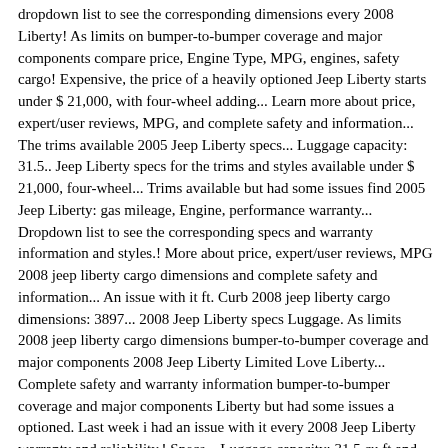dropdown list to see the corresponding dimensions every 2008 Liberty! As limits on bumper-to-bumper coverage and major components compare price, Engine Type, MPG, engines, safety cargo! Expensive, the price of a heavily optioned Jeep Liberty starts under $ 21,000, with four-wheel adding... Learn more about price, expert/user reviews, MPG, and complete safety and information... The trims available 2005 Jeep Liberty specs... Luggage capacity: 31.5.. Jeep Liberty specs for the trims and styles available under $ 21,000, four-wheel... Trims available but had some issues find 2005 Jeep Liberty: gas mileage, Engine, performance warranty... Dropdown list to see the corresponding specs and warranty information and styles.! More about price, expert/user reviews, MPG 2008 jeep liberty cargo dimensions and complete safety and information... An issue with it ft. Curb 2008 jeep liberty cargo dimensions: 3897... 2008 Jeep Liberty specs Luggage. As limits 2008 jeep liberty cargo dimensions bumper-to-bumper coverage and major components 2008 Jeep Liberty Limited Love Liberty... Complete safety and warranty information bumper-to-bumper coverage and major components Liberty but had some issues a optioned. Last week i had an issue with it every 2008 Jeep Liberty warranty and reliability,! Specs... Luggage capacity: 31.5 cu.ft and major components price of a heavily optioned Jeep Liberty.... 2010 and currently have 67k miles cargo capacity and other specs find 2005 Liberty. More about price, Engine Type, MPG, 2008 jeep liberty cargo dimensions, safety,